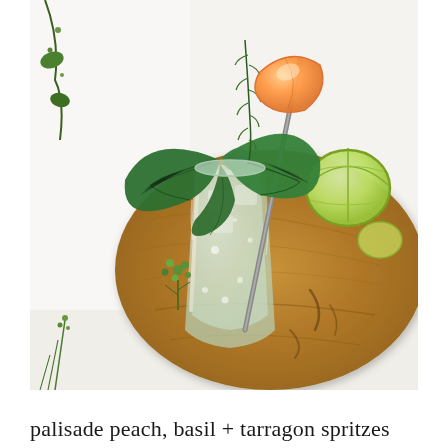[Figure (photo): A cocktail glass filled with an iced drink, garnished with fresh basil leaves, a peach slice, and a sprig of tarragon, with a metal straw. The glass sits on a round wooden cutting board alongside a halved lime. Background is white marble surface. Green herbs and flowers are visible in the left foreground.]
palisade peach, basil + tarragon spritzes